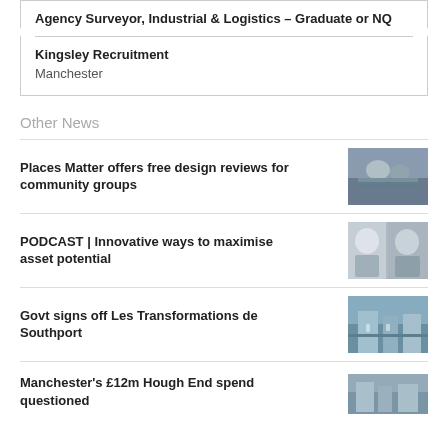Agency Surveyor, Industrial & Logistics – Graduate or NQ
Kingsley Recruitment
Manchester
Other News
Places Matter offers free design reviews for community groups
[Figure (photo): People gathered around a table, working on a design project]
PODCAST | Innovative ways to maximise asset potential
[Figure (photo): Two men in business attire, headshots side by side]
Govt signs off Les Transformations de Southport
[Figure (photo): Street scene, outdoor urban area with buildings]
Manchester's £12m Hough End spend questioned
[Figure (photo): Outdoor sports or park area building]